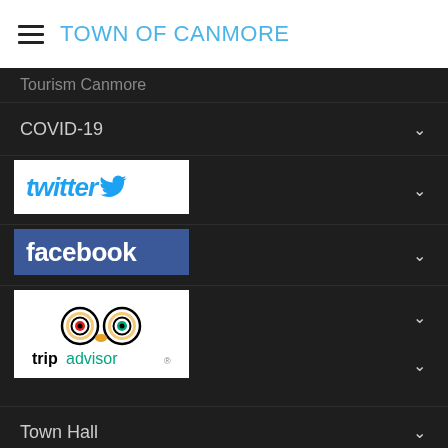TOWN OF CANMORE
Tourism Canmore
COVID-19
[Figure (logo): Twitter logo with bird icon, white background]
[Figure (logo): Facebook logo, white text on blue background]
[Figure (logo): TripAdvisor logo with owl icon]
Town Hall
I want to...